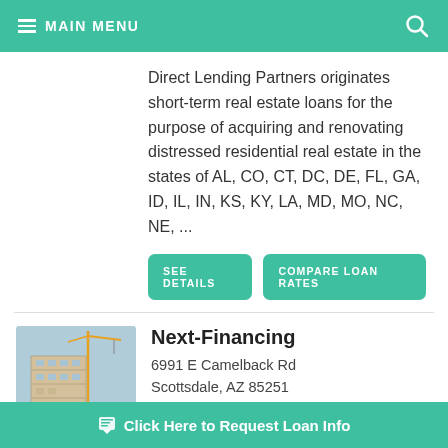MAIN MENU
Direct Lending Partners originates short-term real estate loans for the purpose of acquiring and renovating distressed residential real estate in the states of AL, CO, CT, DC, DE, FL, GA, ID, IL, IN, KS, KY, LA, MD, MO, NC, NE, ...
SEE DETAILS | COMPARE LOAN RATES
Next-Financing
6991 E Camelback Rd
Scottsdale, AZ 85251
Click Here to Request Loan Info